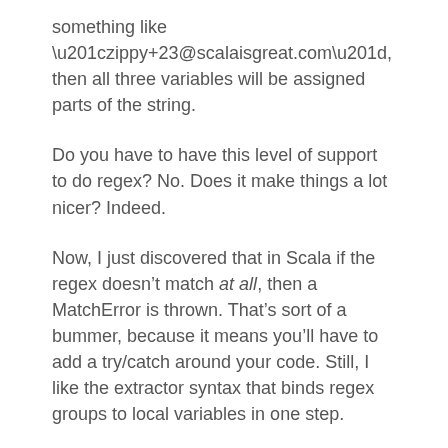something like “zippy+23@scalaisgreat.com”, then all three variables will be assigned parts of the string.
Do you have to have this level of support to do regex? No. Does it make things a lot nicer? Indeed.
Now, I just discovered that in Scala if the regex doesn’t match at all, then a MatchError is thrown. That’s sort of a bummer, because it means you’ll have to add a try/catch around your code. Still, I like the extractor syntax that binds regex groups to local variables in one step.
You can see some more examples of regex in Scala over here.